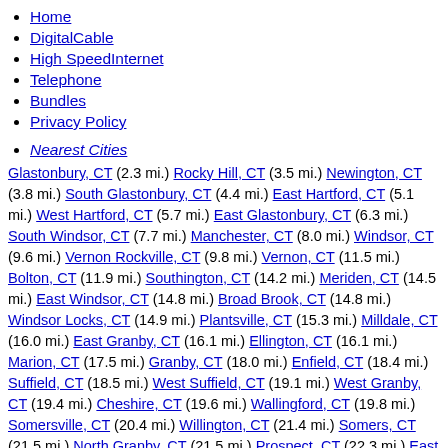Home
DigitalCable
High SpeedInternet
Telephone
Bundles
Privacy Policy
Nearest Cities
Glastonbury, CT (2.3 mi.) Rocky Hill, CT (3.5 mi.) Newington, CT (3.8 mi.) South Glastonbury, CT (4.4 mi.) East Hartford, CT (5.1 mi.) West Hartford, CT (5.7 mi.) East Glastonbury, CT (6.3 mi.) South Windsor, CT (7.7 mi.) Manchester, CT (8.0 mi.) Windsor, CT (9.6 mi.) Vernon Rockville, CT (9.8 mi.) Vernon, CT (11.5 mi.) Bolton, CT (11.9 mi.) Southington, CT (14.2 mi.) Meriden, CT (14.5 mi.) East Windsor, CT (14.8 mi.) Broad Brook, CT (14.8 mi.) Windsor Locks, CT (14.9 mi.) Plantsville, CT (15.3 mi.) Milldale, CT (16.0 mi.) East Granby, CT (16.1 mi.) Ellington, CT (16.1 mi.) Marion, CT (17.5 mi.) Granby, CT (18.0 mi.) Enfield, CT (18.4 mi.) Suffield, CT (18.5 mi.) West Suffield, CT (19.1 mi.) West Granby, CT (19.4 mi.) Cheshire, CT (19.6 mi.) Wallingford, CT (19.8 mi.) Somersville, CT (20.4 mi.) Willington, CT (21.4 mi.) Somers, CT (21.5 mi.) North Granby, CT (21.5 mi.) Prospect, CT (22.3 mi.) East Hartland, CT (23.6 mi.) Stafford Springs, CT (24.5 mi.) Hazardville, CT (25 mi.) Stafford, CT (25.5 mi.) Wallback, A, ...